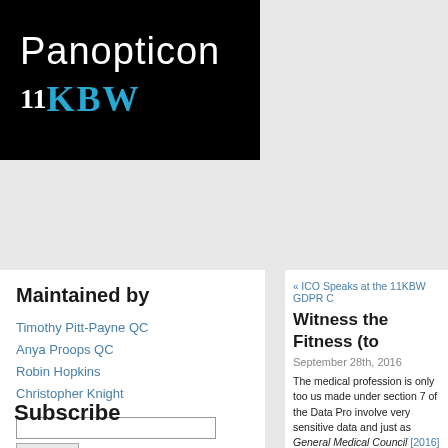[Figure (logo): Panopticon 11KBW logo on black background]
Maintained by
Timothy Pitt-Payne QC
Anya Proops QC
Robin Hopkins
Christopher Knight
« ICO Speaks at the 11KBW GDPR C
Witness the Fitness (to
September 28th, 2016
The medical profession is only too us made under section 7 of the Data Pro involve very sensitive data and just as General Medical Council [2016] EWH
P was a patient of Dr DB, who believe had commenced a Fitness to Practise expert report into DB's care of P. That seriously below, and it did not accept would not be pursued and provided to
Subscribe